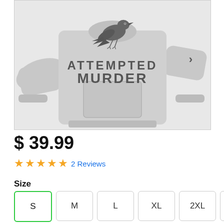[Figure (photo): Grey crewneck sweatshirt with a crow graphic and text reading ATTEMPTED MURDER printed on the front, displayed flat on white background]
$39.99
★★★★★ 2 Reviews
Size
S (selected)
M
L
XL
2XL
3XL